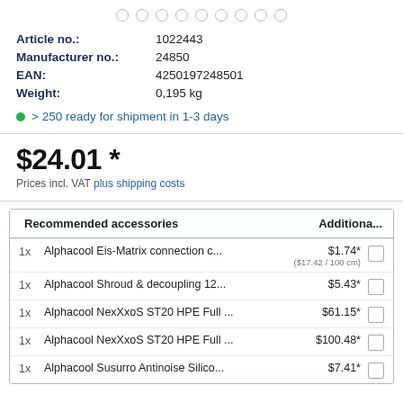Article no.: 1022443
Manufacturer no.: 24850
EAN: 4250197248501
Weight: 0,195 kg
> 250 ready for shipment in 1-3 days
$24.01 *
Prices incl. VAT plus shipping costs
|  | Recommended accessories | Additiona... |  |
| --- | --- | --- | --- |
| 1x | Alphacool Eis-Matrix connection c... | $1.74*
($17.42 / 100 cm) |  |
| 1x | Alphacool Shroud & decoupling 12... | $5.43* |  |
| 1x | Alphacool NexXxoS ST20 HPE Full ... | $61.15* |  |
| 1x | Alphacool NexXxoS ST20 HPE Full ... | $100.48* |  |
| 1x | Alphacool Susurro Antinoise Silico... | $7.41* |  |